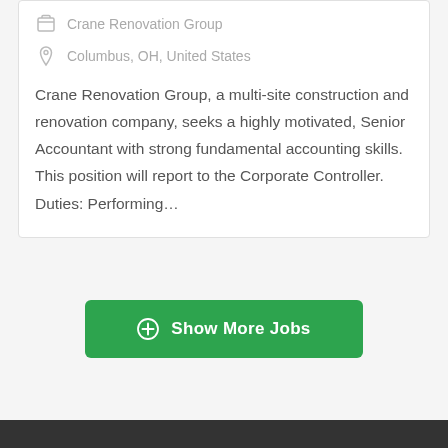Crane Renovation Group
Columbus, OH, United States
Crane Renovation Group, a multi-site construction and renovation company, seeks a highly motivated, Senior Accountant with strong fundamental accounting skills. This position will report to the Corporate Controller. Duties: Performing...
Show More Jobs